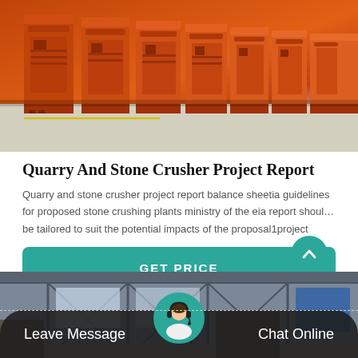[Figure (photo): Row of orange industrial jaw crushers/stone crushing machines in a factory yard]
Quarry And Stone Crusher Project Report
Quarry and stone crusher project report balance sheetia guidelines for proposed stone crushing plants ministry of the eia report shoul… be tailored to suit the potential impacts of the proposal1project
GET PRICE
[Figure (photo): Interior of an industrial factory/workshop with steel structure and natural light]
Leave Message    Chat Online